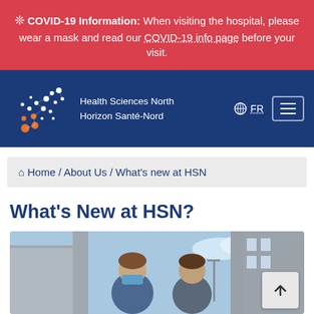❄ COVID-19 Information: When visiting the hospital, please wear a mask and read our COVID-19 info page before your visit.
[Figure (logo): Health Sciences North / Horizon Santé-Nord logo with stylized DNA/constellation dots on dark blue navigation bar, with FR language toggle and hamburger menu]
🏠 Home / About Us / What's new at HSN
What's New at HSN?
[Figure (photo): Two healthcare workers outdoors, one wearing a blue surgical mask, outside a hospital building]